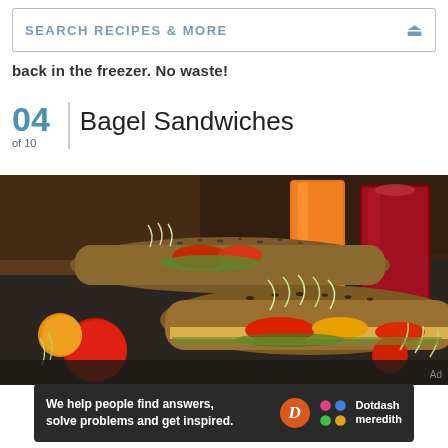[Figure (screenshot): Search bar with text SEARCH RECIPES & MORE and a search icon on the right]
back in the freezer. No waste!
04 of 10 | Bagel Sandwiches
[Figure (photo): Close-up food photo of bagel sandwiches topped with tomatoes, sprouts, and seeds on a dark slate board, with two glasses of juice in the background]
Ad
We help people find answers, solve problems and get inspired. Dotdash meredith